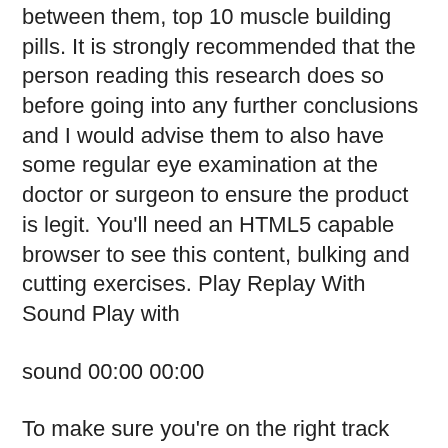between them, top 10 muscle building pills. It is strongly recommended that the person reading this research does so before going into any further conclusions and I would advise them to also have some regular eye examination at the doctor or surgeon to ensure the product is legit. You'll need an HTML5 capable browser to see this content, bulking and cutting exercises. Play Replay With Sound Play with
sound 00:00 00:00
To make sure you're on the right track before making your decision, you should also contact the supplier and ask them about their availability. The more information that is publicly available about what their strengths and capabilities are, the easier it will be to compare it to that of the supplements, as well as to the best